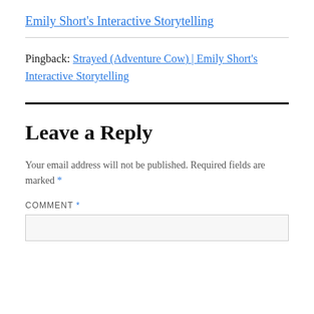Emily Short's Interactive Storytelling
Pingback: Strayed (Adventure Cow) | Emily Short's Interactive Storytelling
Leave a Reply
Your email address will not be published. Required fields are marked *
COMMENT *